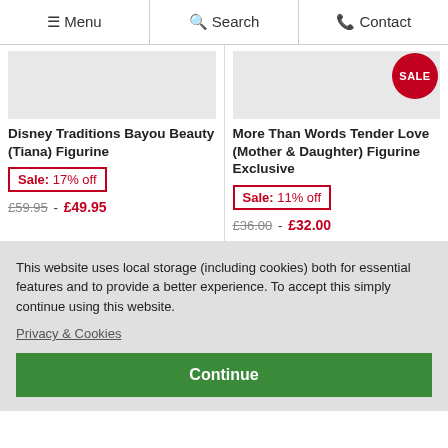Menu  Search  Contact
Disney Traditions Bayou Beauty (Tiana) Figurine
Sale: 17% off
£59.95 - £49.95
More Than Words Tender Love (Mother & Daughter) Figurine Exclusive
Sale: 11% off
£36.00 - £32.00
This website uses local storage (including cookies) both for essential features and to provide a better experience. To accept this simply continue using this website.
Privacy & Cookies
Continue